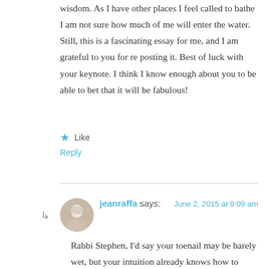wisdom. As I have other places I feel called to bathe I am not sure how much of me will enter the water. Still, this is a fascinating essay for me, and I am grateful to you for re posting it. Best of luck with your keynote. I think I know enough about you to be able to bet that it will be fabulous!
★ Like
Reply
jeanraffa says:
June 2, 2015 at 9:09 am
Rabbi Stephen, I'd say your toenail may be barely wet, but your intuition already knows how to swim. Your use of the symbol of the ocean could not be